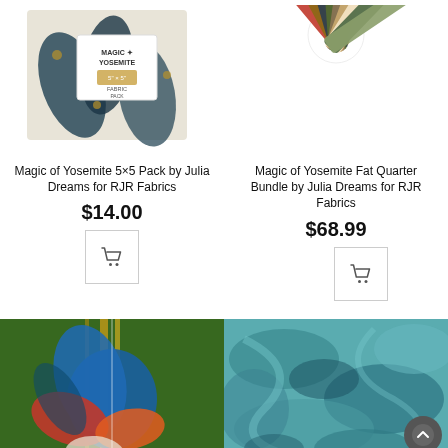[Figure (photo): Magic of Yosemite 5x5 Pack fabric bundle with botanical/palm leaf print, white packaging]
[Figure (photo): Magic of Yosemite Fat Quarter Bundle fanned out showing various fabric prints in earthy tones]
Magic of Yosemite 5×5 Pack by Julia Dreams for RJR Fabrics
$14.00
[Figure (other): Add to cart button icon]
Magic of Yosemite Fat Quarter Bundle by Julia Dreams for RJR Fabrics
$68.99
[Figure (other): Add to cart button icon]
[Figure (photo): Colorful abstract floral painting with blue, orange, red swirling petals on green/yellow background]
[Figure (photo): Teal and blue marbled fabric texture]